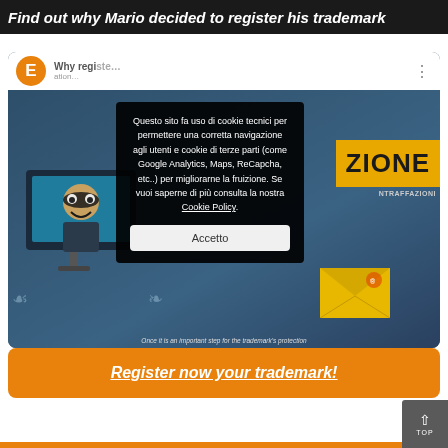Find out why Mario decided to register his trademark
[Figure (screenshot): Video thumbnail showing a cartoon character with a mask near a computer monitor, with a yellow banner reading 'ZIONE' and subtitle text 'Once it is an important step for the trademark's protection']
Questo sito fa uso di cookie tecnici per permettere una corretta navigazione agli utenti e cookie di terze parti (come Google Analytics, Maps, ReCapcha, etc..) per migliorarne la fruizione. Se vuoi saperne di più consulta la nostra Cookie Policy.
Accetto
Register now your trademark!